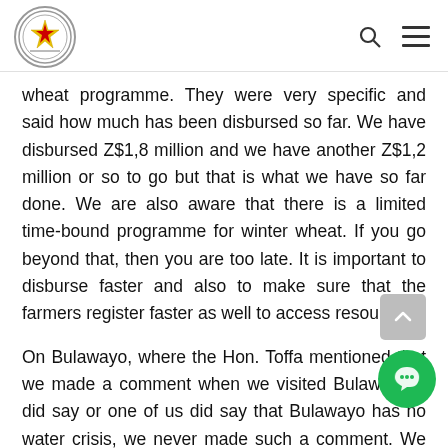Parliament of Zimbabwe
wheat programme. They were very specific and said how much has been disbursed so far. We have disbursed Z$1,8 million and we have another Z$1,2 million or so to go but that is what we have so far done. We are also aware that there is a limited time-bound programme for winter wheat. If you go beyond that, then you are too late. It is important to disburse faster and also to make sure that the farmers register faster as well to access resources.
On Bulawayo, where the Hon. Toffa mentioned that we made a comment when we visited Bulawayo, I did say or one of us did say that Bulawayo has no water crisis, we never made such a comment. We said that Bulawayo's water crisis can be solved if we apply our minds and